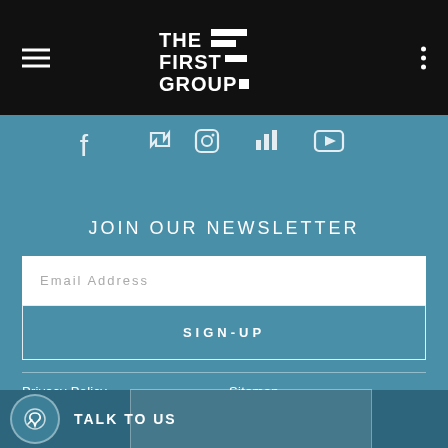[Figure (logo): The First Group logo in white on black background, with hamburger menu icon on left and three-dot menu on right]
[Figure (infographic): Row of social media icons: Facebook, Twitter/retweet, Instagram, bar chart icon, YouTube]
JOIN OUR NEWSLETTER
Email Address
SIGN-UP
Privacy Policy
Sitemap
Terms & Conditions
TALK TO US